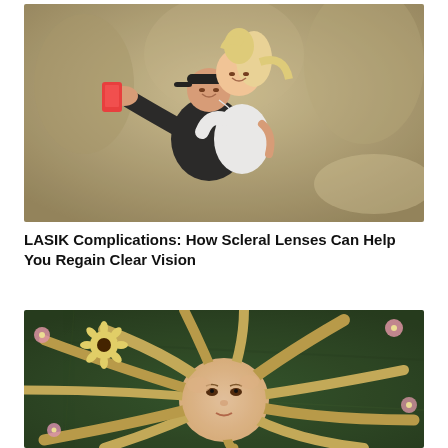[Figure (photo): A young couple taking a selfie outdoors. The man with a black cap is carrying the smiling blonde woman on his back; she holds a red phone out for the selfie. Both are smiling, in a park setting with blurred trees in background.]
LASIK Complications: How Scleral Lenses Can Help You Regain Clear Vision
[Figure (photo): Overhead view of a blonde woman lying on grass with flowers (sunflower, pink flowers) scattered around her hair which fans out around her head. She is looking up at the camera.]